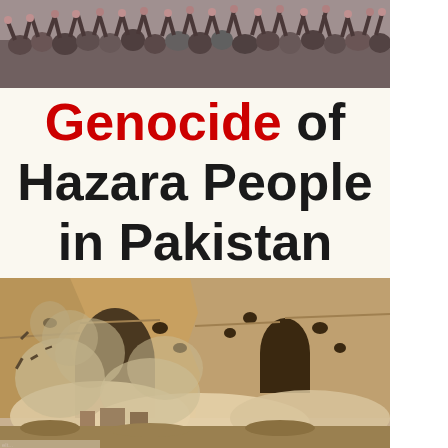[Figure (photo): Crowd of people with raised hands, appearing to be at a protest or demonstration]
Genocide of Hazara People in Pakistan
[Figure (photo): Destruction of Bamiyan Buddha statues in Afghanistan — large rocky cliff face with explosion dust and smoke billowing at the base, ancient niches visible in sandstone cliffs]